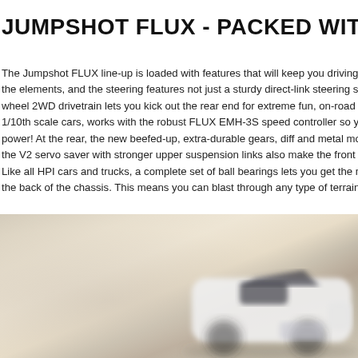JUMPSHOT FLUX - PACKED WITH
The Jumpshot FLUX line-up is loaded with features that will keep you driving f the elements, and the steering features not just a sturdy direct-link steering sys wheel 2WD drivetrain lets you kick out the rear end for extreme fun, on-road o 1/10th scale cars, works with the robust FLUX EMH-3S speed controller so yo power! At the rear, the new beefed-up, extra-durable gears, diff and metal mot the V2 servo saver with stronger upper suspension links also make the front e
Like all HPI cars and trucks, a complete set of ball bearings lets you get the m the back of the chassis. This means you can blast through any type of terrain y
[Figure (photo): Blurred close-up photo of a white RC car (Jumpshot FLUX) on a light-colored surface, showing the top/body of the vehicle with some dark details visible]